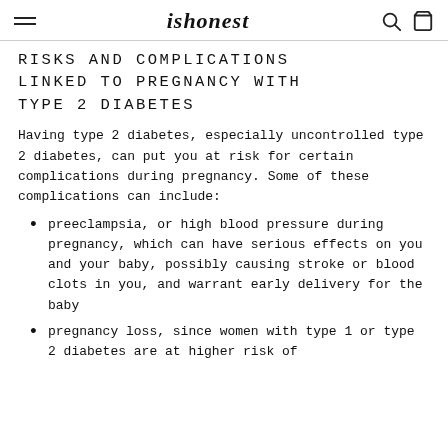ishonest
RISKS AND COMPLICATIONS LINKED TO PREGNANCY WITH TYPE 2 DIABETES
Having type 2 diabetes, especially uncontrolled type 2 diabetes, can put you at risk for certain complications during pregnancy. Some of these complications can include:
preeclampsia, or high blood pressure during pregnancy, which can have serious effects on you and your baby, possibly causing stroke or blood clots in you, and warrant early delivery for the baby
pregnancy loss, since women with type 1 or type 2 diabetes are at higher risk of